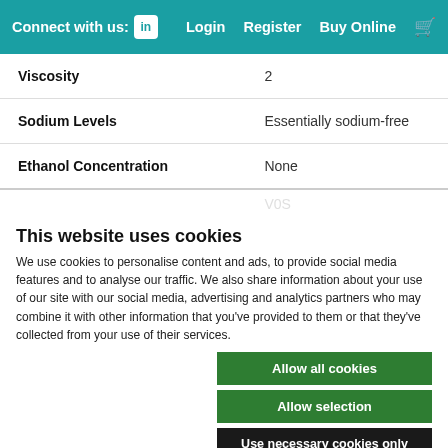Connect with us: [LinkedIn] Login Register Buy Online [cart]
| Property | Value |
| --- | --- |
| Viscosity | 2 |
| Sodium Levels | Essentially sodium-free |
| Ethanol Concentration | None |
This website uses cookies
We use cookies to personalise content and ads, to provide social media features and to analyse our traffic. We also share information about your use of our site with our social media, advertising and analytics partners who may combine it with other information that you've provided to them or that they've collected from your use of their services.
Allow all cookies | Allow selection | Use necessary cookies only
☑ Necessary  ☐ Preferences  ☐ Statistics  ☐ Marketing  Show details ∨